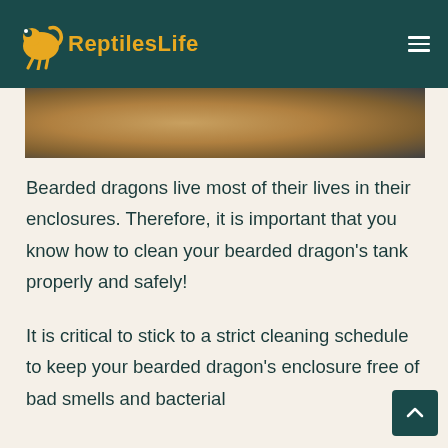ReptilesLife
[Figure (photo): Close-up photo of a bearded dragon reptile, showing sandy/golden scales and textured skin]
Bearded dragons live most of their lives in their enclosures. Therefore, it is important that you know how to clean your bearded dragon's tank properly and safely!
It is critical to stick to a strict cleaning schedule to keep your bearded dragon's enclosure free of bad smells and bacterial infections that can make your dragon sick.